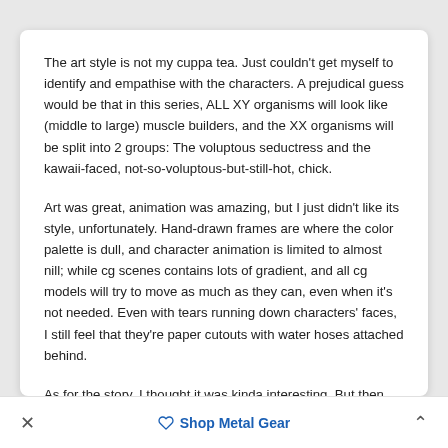The art style is not my cuppa tea. Just couldn't get myself to identify and empathise with the characters. A prejudical guess would be that in this series, ALL XY organisms will look like (middle to large) muscle builders, and the XX organisms will be split into 2 groups: The voluptous seductress and the kawaii-faced, not-so-voluptous-but-still-hot, chick.
Art was great, animation was amazing, but I just didn't like its style, unfortunately. Hand-drawn frames are where the color palette is dull, and character animation is limited to almost nill; while cg scenes contains lots of gradient, and all cg models will try to move as much as they can, even when it's not needed. Even with tears running down characters' faces, I still feel that they're paper cutouts with water hoses attached behind.
As for the story, I thought it was kinda interesting. But then again, the only proportion of it that ran off. The stary malf driving...
× Shop Metal Gear ^